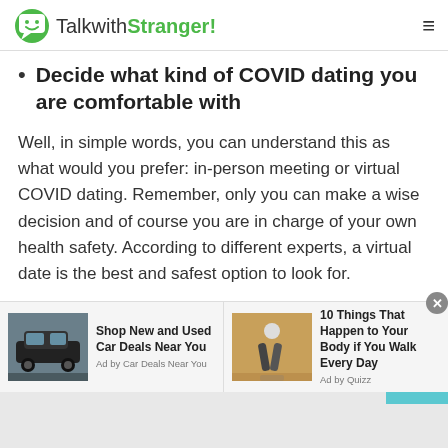TalkwithStranger!
Decide what kind of COVID dating you are comfortable with
Well, in simple words, you can understand this as what would you prefer: in-person meeting or virtual COVID dating. Remember, only you can make a wise decision and of course you are in charge of your own health safety. According to different experts, a virtual date is the best and safest option to look for.
One of the mental health counsellors suggested that dating virtually helps you get to know your partner on a